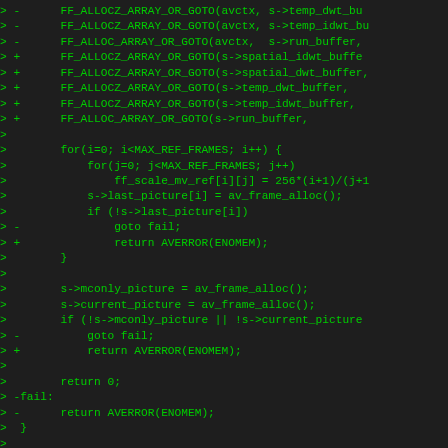[Figure (screenshot): Code diff screenshot showing C code changes in a dark terminal/editor, green monospace text on dark background. Shows memory allocation macros being changed from using goto fail to return AVERROR(ENOMEM), and removal of a fail label.]